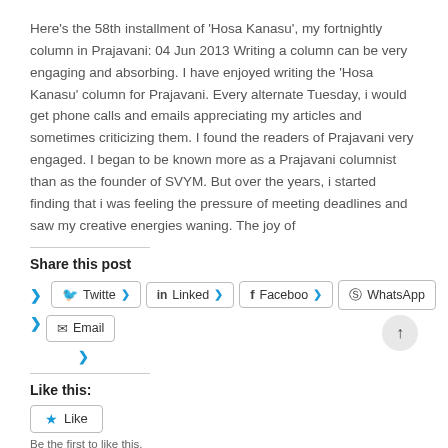Here's the 58th installment of 'Hosa Kanasu', my fortnightly column in Prajavani: 04 Jun 2013 Writing a column can be very engaging and absorbing. I have enjoyed writing the 'Hosa Kanasu' column for Prajavani. Every alternate Tuesday, i would get phone calls and emails appreciating my articles and sometimes criticizing them. I found the readers of Prajavani very engaged. I began to be known more as a Prajavani columnist than as the founder of SVYM. But over the years, i started finding that i was feeling the pressure of meeting deadlines and saw my creative energies waning. The joy of
Share this post
Twitter LinkedIn Facebook WhatsApp Email
Like this:
Like
Be the first to like this.